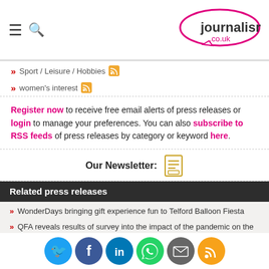journalism.co.uk
Sport / Leisure / Hobbies [RSS]
women's interest [RSS]
Register now to receive free email alerts of press releases or login to manage your preferences. You can also subscribe to RSS feeds of press releases by category or keyword here.
Our Newsletter:
Related press releases
WonderDays bringing gift experience fun to Telford Balloon Fiesta
QFA reveals results of survey into the impact of the pandemic on the franchise sector
Birthdays top occasion for gift experience buyers
Adventurous entrepreneur climbs the Matterhorn to raise thousands for charity
Best hot air balloon experiences for birthdays and more